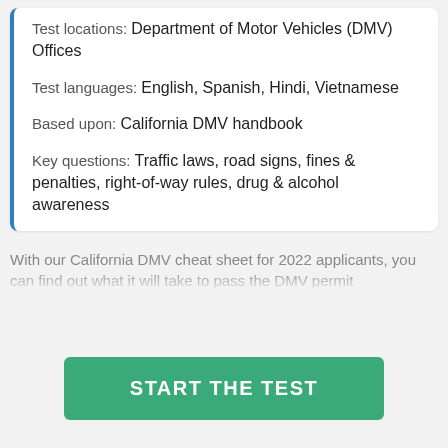Test locations: Department of Motor Vehicles (DMV) Offices
Test languages: English, Spanish, Hindi, Vietnamese
Based upon: California DMV handbook
Key questions: Traffic laws, road signs, fines & penalties, right-of-way rules, drug & alcohol awareness
With our California DMV cheat sheet for 2022 applicants, you can find out what it will take to pass the DMV permit
START THE TEST